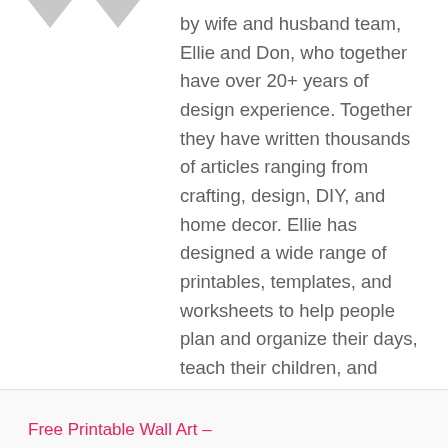[Figure (illustration): Two downward-pointing arrow/chevron shapes in gray, partially visible at top left]
by wife and husband team, Ellie and Don, who together have over 20+ years of design experience. Together they have written thousands of articles ranging from crafting, design, DIY, and home decor. Ellie has designed a wide range of printables, templates, and worksheets to help people plan and organize their days, teach their children, and decorate their homes. Ellie aims to help you make the most of your life, your family, and your home. Learn more.
Free Printable Wall Art –